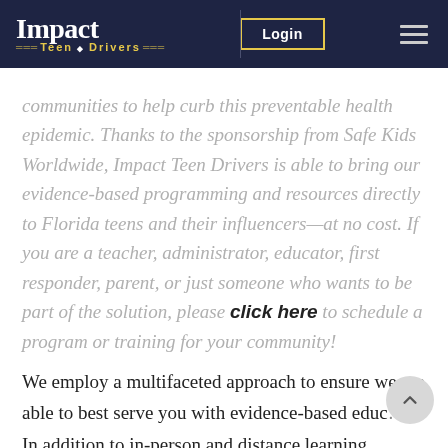Impact Teen Drivers | Login
Impact Teen Drivers is proud to work with Florida communities to help curb this preventable health epidemic. Thanks to the sponsorship from Safe Kids Worldwide, Impact Teen Drivers is able to bring our evidence-based programming and resources directly to Florida teens and their influencers—at no cost. If you are a teacher, administrator, educator, first responder, parent, or just someone who wants to be part of the solution, please click here to schedule a program or training for your community!
We employ a multifaceted approach to ensure we are able to best serve you with evidence-based educ... In addition to in-person and distance learning presentations, we offer engaging educational webinars